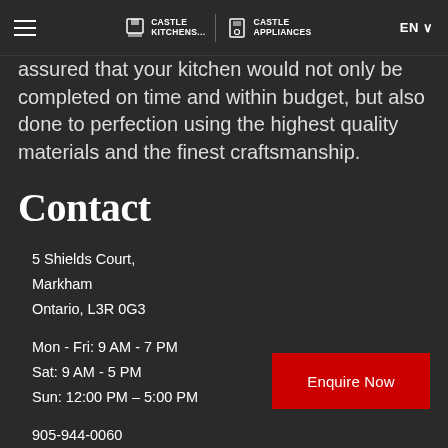Castle Kitchens | Castle Appliances | EN
assured that your kitchen would not only be completed on time and within budget, but also done to perfection using the highest quality materials and the finest craftsmanship.
Contact
5 Shields Court,
Markham
Ontario, L3R 0G3
Mon - Fri: 9 AM - 7 PM
Sat: 9 AM - 5 PM
Sun: 12:00 PM – 5:00 PM
905-944-0060
info@castlekitchens.ca